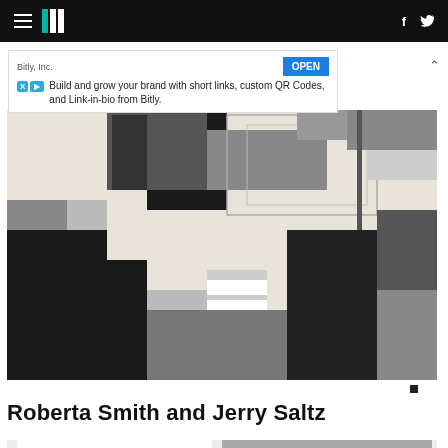HuffPost navigation with hamburger menu, logo, and social icons (Facebook, Twitter)
[Figure (other): Advertisement banner from Bitly, Inc. - Build and grow your brand with short links, custom QR Codes, and Link-in-bio from Bitly. OPEN button]
[Figure (illustration): Abstract geometric artwork with black, white and grey rectangular shapes arranged in a cubist style pattern]
Roberta Smith and Jerry Saltz
[Figure (photo): Two artworks side by side - left shows a wooden sculptural piece on a pedestal against white background, right shows a grey geometric layered artwork]